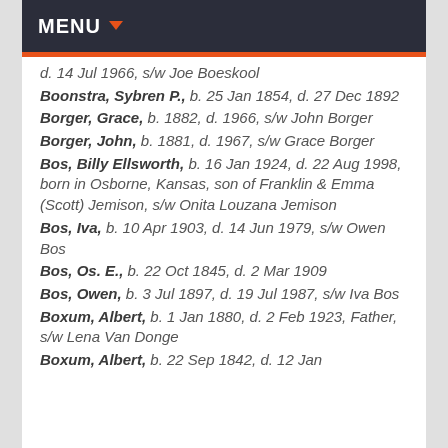MENU
d. 14 Jul 1966, s/w Joe Boeskool
Boonstra, Sybren P., b. 25 Jan 1854, d. 27 Dec 1892
Borger, Grace, b. 1882, d. 1966, s/w John Borger
Borger, John, b. 1881, d. 1967, s/w Grace Borger
Bos, Billy Ellsworth, b. 16 Jan 1924, d. 22 Aug 1998, born in Osborne, Kansas, son of Franklin & Emma (Scott) Jemison, s/w Onita Louzana Jemison
Bos, Iva, b. 10 Apr 1903, d. 14 Jun 1979, s/w Owen Bos
Bos, Os. E., b. 22 Oct 1845, d. 2 Mar 1909
Bos, Owen, b. 3 Jul 1897, d. 19 Jul 1987, s/w Iva Bos
Boxum, Albert, b. 1 Jan 1880, d. 2 Feb 1923, Father, s/w Lena Van Donge
Boxum, Albert, b. 22 Sep 1842, d. 12 Jan